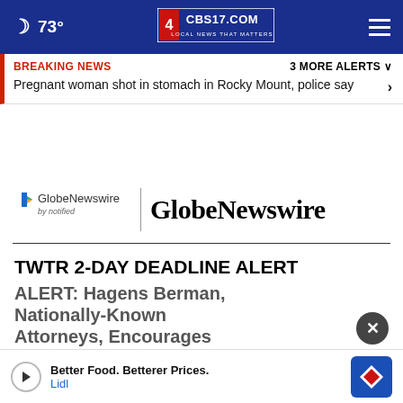73° CBS17.COM LOCAL NEWS THAT MATTERS
BREAKING NEWS   3 MORE ALERTS ∨
Pregnant woman shot in stomach in Rocky Mount, police say
[Figure (logo): GlobeNewswire by notified logo with colorful arrow icon and wordmark]
TWTR 2-DAY DEADLINE ALERT: Hagens Berman, Nationally-Known Attorneys, Encourages
Better Food. Betterer Prices. Lidl